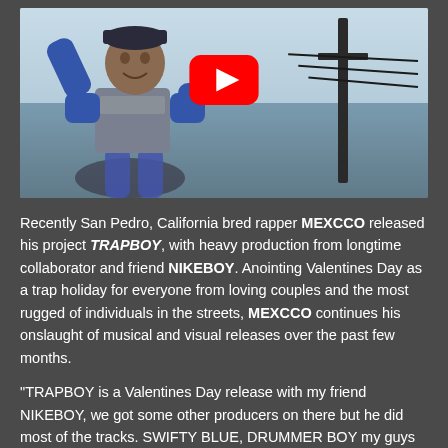[Figure (photo): YouTube video thumbnail showing a young man wearing a gray 'TRAPSTAR' vest with arms raised, with a utility pole and wires in the background. A large red YouTube play button is overlaid in the center.]
Recently San Pedro, California bred rapper MEXCCO released his project TRAPBOY, with heavy production from longtime collaborator and friend NIKEBOY. Anointing Valentines Day as a trap holiday for everyone from loving couples and the most rugged of individuals in the streets, MEXCCO continues his onslaught of musical and visual releases over the past few months.
"TRAPBOY is a Valentines Day release with my friend NIKEBOY, we got some other producers on there but he did most of the tracks. SWIFTY BLUE, DRUMMER BOY my guys SIETE and SLIM 400 are also featured on the project, so there's a lot of energy on there for the fans. A lot of NIKEBOY stuff been going up and I put a lot of energy into this. This